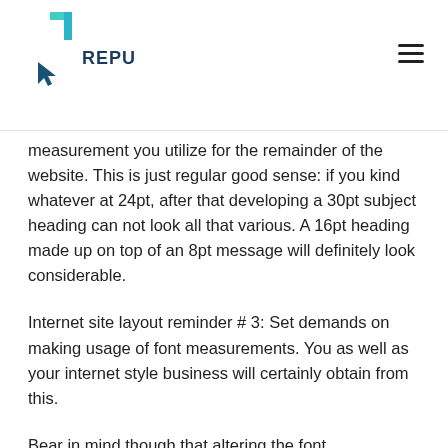REPU
measurement you utilize for the remainder of the website. This is just regular good sense: if you kind whatever at 24pt, after that developing a 30pt subject heading can not look all that various. A 16pt heading made up on top of an 8pt message will definitely look considerable.
Internet site layout reminder # 3: Set demands on making usage of font measurements. You as well as your internet style business will certainly obtain from this.
Bear in mind though that altering the font measurement is not the only method that you can transform your internet layout to acquire as much rate of interest. You can change the weight as well as additionally the layout of your font by making use of the